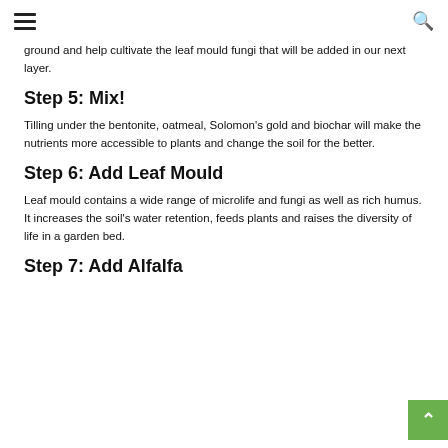☰  [search icon]
ground and help cultivate the leaf mould fungi that will be added in our next layer.
Step 5: Mix!
Tilling under the bentonite, oatmeal, Solomon's gold and biochar will make the nutrients more accessible to plants and change the soil for the better.
Step 6: Add Leaf Mould
Leaf mould contains a wide range of microlife and fungi as well as rich humus. It increases the soil's water retention, feeds plants and raises the diversity of life in a garden bed.
Step 7: Add Alfalfa